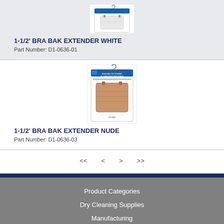[Figure (photo): Product image of 1-1/2 inch Bra Bak Extender White in retail packaging]
1-1/2' BRA BAK EXTENDER WHITE
Part Number: D1-0636-01
[Figure (photo): Product image of 1-1/2 inch Bra Bak Extender Nude in retail packaging, showing a nude/tan colored fabric extender]
1-1/2' BRA BAK EXTENDER NUDE
Part Number: D1-0636-03
<< < > >>
Product Categories
Dry Cleaning Supplies
Manufacturing